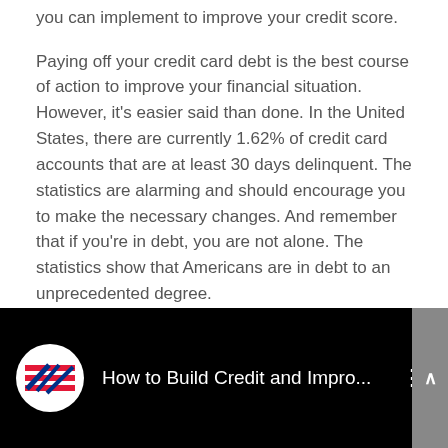you can implement to improve your credit score.
Paying off your credit card debt is the best course of action to improve your financial situation. However, it's easier said than done. In the United States, there are currently 1.62% of credit card accounts that are at least 30 days delinquent. The statistics are alarming and should encourage you to make the necessary changes. And remember that if you're in debt, you are not alone. The statistics show that Americans are in debt to an unprecedented degree.
[Figure (screenshot): Embedded YouTube video thumbnail with Bank of America logo, title 'How to Build Credit and Impro...', three-dot menu, and gray scrollbar on right.]